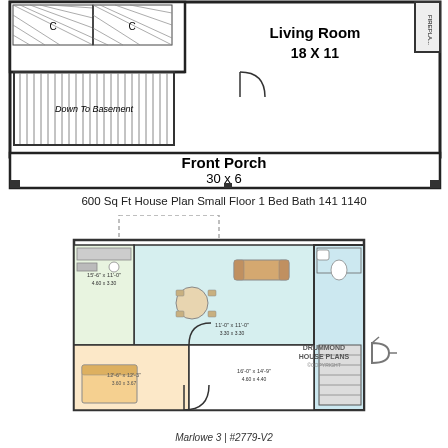[Figure (engineering-diagram): Top floor plan showing Living Room (18 X 11), Front Porch (30 x 6), staircase Down To Basement, closets (C), and fireplace. Black and white architectural floor plan.]
600 Sq Ft House Plan Small Floor 1 Bed Bath 141 1140
[Figure (engineering-diagram): Color architectural floor plan showing bedroom, living/dining area, kitchen, bathroom, staircase, and outdoor porch area. Drummond House Plans copyright. Marlowe 3 | #2779-V2]
DRUMMOND HOUSE PLANS ©COPYRIGHT
Marlowe 3 | #2779-V2